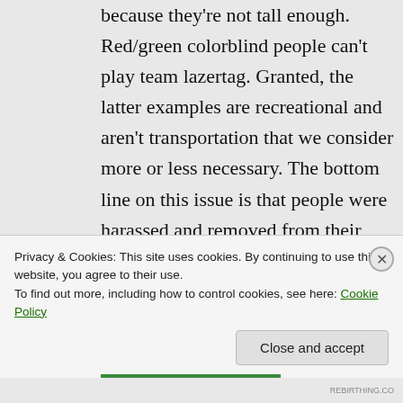because they're not tall enough. Red/green colorblind people can't play team lazertag. Granted, the latter examples are recreational and aren't transportation that we consider more or less necessary. The bottom line on this issue is that people were harassed and removed from their seats for being too big when they weren't. There are no
Privacy & Cookies: This site uses cookies. By continuing to use this website, you agree to their use. To find out more, including how to control cookies, see here: Cookie Policy